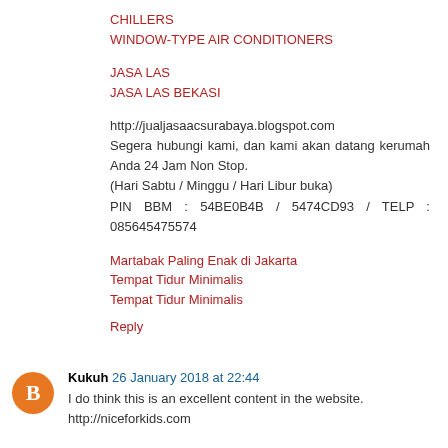CHILLERS
WINDOW-TYPE AIR CONDITIONERS
JASA LAS
JASA LAS BEKASI
http://jualjasaacsurabaya.blogspot.com
Segera hubungi kami, dan kami akan datang kerumah Anda 24 Jam Non Stop.
(Hari Sabtu / Minggu / Hari Libur buka)
PIN BBM : 54BE0B4B / 5474CD93 / TELP : 085645475574
Martabak Paling Enak di Jakarta
Tempat Tidur Minimalis
Tempat Tidur Minimalis
Reply
Kukuh 26 January 2018 at 22:44
I do think this is an excellent content in the website. http://niceforkids.com